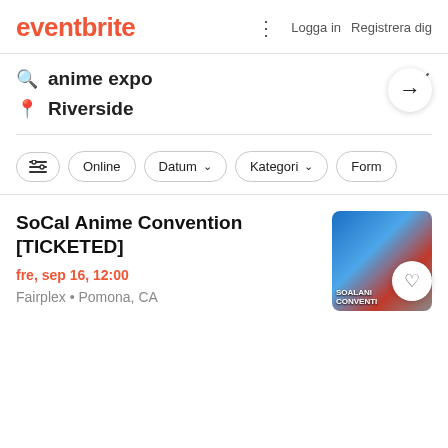eventbrite | Logga in  Registrera dig
anime expo × → Riverside
Online  Datum  Kategori  Form
SoCal Anime Convention [TICKETED]
fre, sep 16, 12:00
Fairplex • Pomona, CA